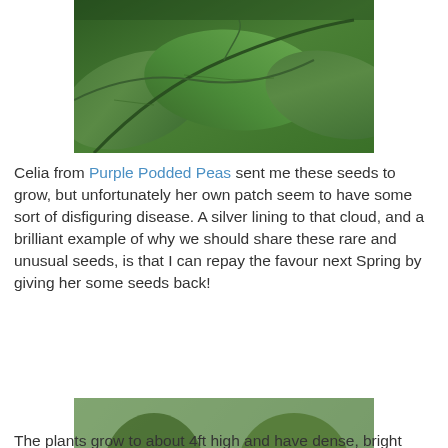[Figure (photo): Close-up photo of green pea plant leaves and tendrils against a blurred background]
Celia from Purple Podded Peas sent me these seeds to grow, but unfortunately her own patch seem to have some sort of disfiguring disease. A silver lining to that cloud, and a brilliant example of why we should share these rare and unusual seeds, is that I can repay the favour next Spring by giving her some seeds back!
[Figure (photo): Photo of pea plants in a garden with white and pink flowers blooming among green leaves]
The plants grow to about 4ft high and have dense, bright